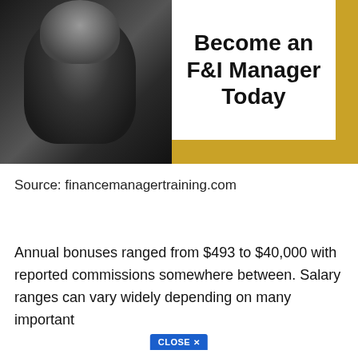[Figure (photo): Black and white photo of a business person in a suit on the left side, with a white box on the right containing bold title text 'Become an F&I Manager Today', and a gold/yellow decorative block in the lower right corner.]
Source: financemanagertraining.com
Annual bonuses ranged from $493 to $40,000 with reported commissions somewhere between. Salary ranges can vary widely depending on many important